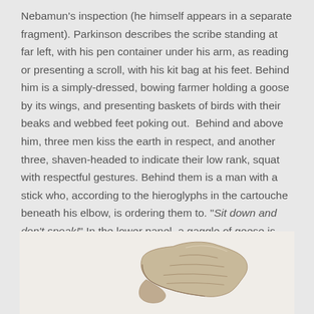Nebamun's inspection (he himself appears in a separate fragment). Parkinson describes the scribe standing at far left, with his pen container under his arm, as reading or presenting a scroll, with his kit bag at his feet. Behind him is a simply-dressed, bowing farmer holding a goose by its wings, and presenting baskets of birds with their beaks and webbed feet poking out. Behind and above him, three men kiss the earth in respect, and another three, shaven-headed to indicate their low rank, squat with respectful gestures. Behind them is a man with a stick who, according to the hieroglyphs in the cartouche beneath his elbow, is ordering them to. "Sit down and don't speak!" In the lower panel, a gaggle of geese is being driven by their gooseherd towards Nebamun [21].
[Figure (photo): Partial image of an ancient Egyptian stone or ceramic fragment/artifact, showing a pale beige-colored piece with irregular broken edges, photographed against a light background.]